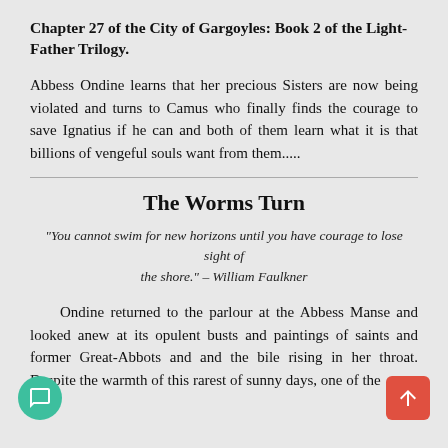Chapter 27 of the City of Gargoyles: Book 2 of the Light-Father Trilogy.
Abbess Ondine learns that her precious Sisters are now being violated and turns to Camus who finally finds the courage to save Ignatius if he can and both of them learn what it is that billions of vengeful souls want from them.....
The Worms Turn
“You cannot swim for new horizons until you have courage to lose sight of the shore.” – William Faulkner
Ondine returned to the parlour at the Abbess Manse and looked anew at its opulent busts and paintings of saints and former Great-Abbots and and the bile rising in her throat. Despite the warmth of this rarest of sunny days, one of the